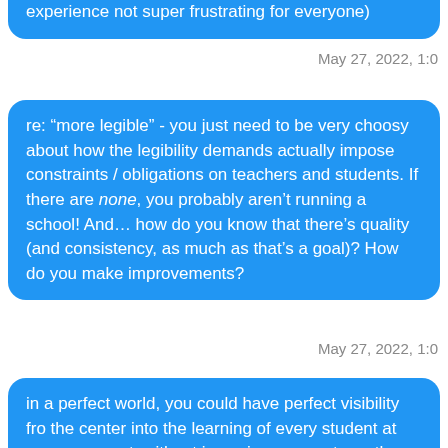experience not super frustrating for everyone)
May 27, 2022, 1:0
re: “more legible” - you just need to be very choosy about how the legibility demands actually impose constraints / obligations on teachers and students. If there are none, you probably aren’t running a school! And… how do you know that there’s quality (and consistency, as much as that’s a goal)? How do you make improvements?
May 27, 2022, 1:0
in a perfect world, you could have perfect visibility fro the center into the learning of every student at every moment, without imposing any costs on the student instructor experience - they don’t have to sit for an exam, but you know exactly how well they learned